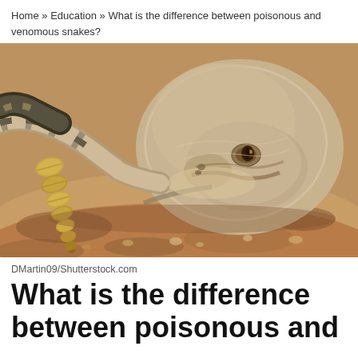Home » Education » What is the difference between poisonous and venomous snakes?
[Figure (photo): Close-up photo of a rattlesnake resting on sandy ground, showing its distinctive scaled body, slit-pupil eye, and rattle visible to the left side.]
DMartin09/Shutterstock.com
What is the difference between poisonous and